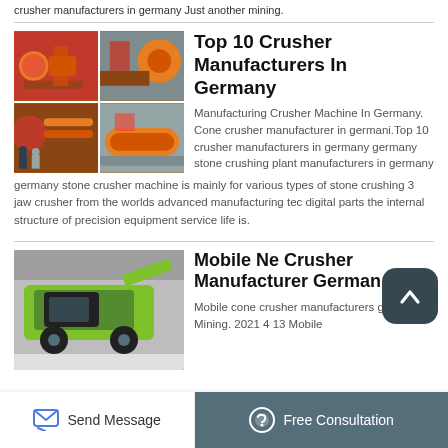crusher manufacturers in germany Just another mining.
Top 10 Crusher Manufacturers In Germany
[Figure (photo): Grid of four photos showing industrial orange mining/crushing machinery and equipment]
Manufacturing Crusher Machine In Germany. Cone crusher manufacturer in germani.Top 10 crusher manufacturers in germany germany stone crushing plant manufacturers in germany germany stone crusher machine is mainly for various types of stone crushing 3 jaw crusher from the worlds advanced manufacturing technology digital parts the internal structure of precision equipment service life is.
Mobile Ne Crusher Manufacturer German
[Figure (photo): Photo of a large green and black mobile crusher machine in a warehouse]
Mobile cone crusher manufacturers german Mining. 2021 4 13 Mobile
Send Message   Free Consultation